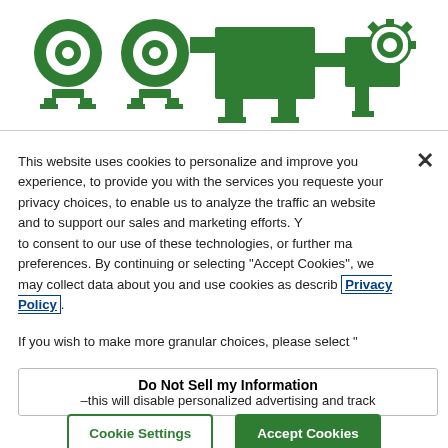[Figure (illustration): Green industrial icons showing pump-like equipment and machinery components on a white background banner at the top of the page.]
This website uses cookies to personalize and improve your experience, to provide you with the services you requested, your privacy choices, to enable us to analyze the traffic and website and to support our sales and marketing efforts. You to consent to our use of these technologies, or further manage preferences. By continuing or selecting "Accept Cookies", we may collect data about you and use cookies as described Privacy Policy.
If you wish to make more granular choices, please select "
Do Not Sell my Information
–this will disable personalized advertising and track
Cookie Settings
Accept Cookies